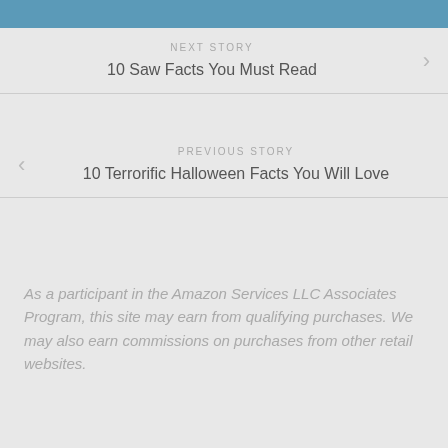NEXT STORY
10 Saw Facts You Must Read
PREVIOUS STORY
10 Terrorific Halloween Facts You Will Love
As a participant in the Amazon Services LLC Associates Program, this site may earn from qualifying purchases. We may also earn commissions on purchases from other retail websites.